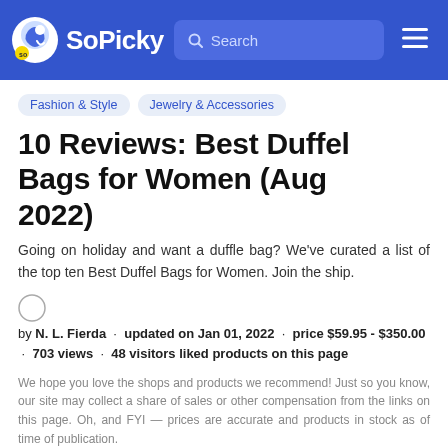SoPicky — Search
Fashion & Style
Jewelry & Accessories
10 Reviews: Best Duffel Bags for Women (Aug 2022)
Going on holiday and want a duffle bag? We've curated a list of the top ten Best Duffel Bags for Women. Join the ship.
by N. L. Fierda · updated on Jan 01, 2022 · price $59.95 - $350.00 · 703 views · 48 visitors liked products on this page
We hope you love the shops and products we recommend! Just so you know, our site may collect a share of sales or other compensation from the links on this page. Oh, and FYI — prices are accurate and products in stock as of time of publication.